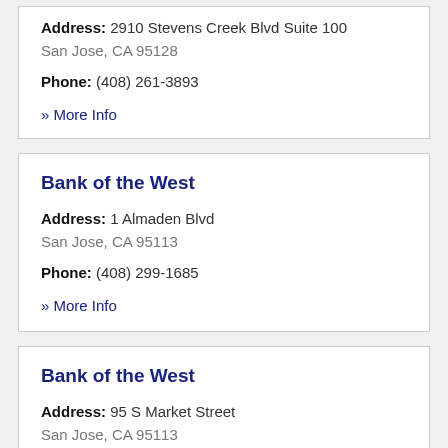Address: 2910 Stevens Creek Blvd Suite 100 San Jose, CA 95128
Phone: (408) 261-3893
» More Info
Bank of the West
Address: 1 Almaden Blvd San Jose, CA 95113
Phone: (408) 299-1685
» More Info
Bank of the West
Address: 95 S Market Street San Jose, CA 95113